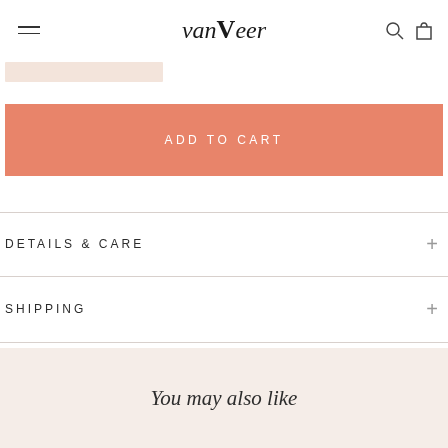vanVeer
[Figure (screenshot): Pink/salmon colored rectangular bar placeholder]
ADD TO CART
DETAILS & CARE
SHIPPING
You may also like